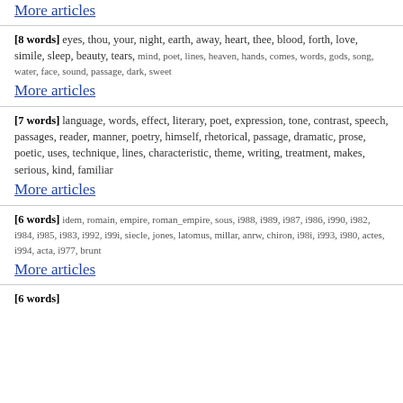More articles (top link, truncated)
[8 words] eyes, thou, your, night, earth, away, heart, thee, blood, forth, love, simile, sleep, beauty, tears, mind, poet, lines, heaven, hands, comes, words, gods, song, water, face, sound, passage, dark, sweet
More articles
[7 words] language, words, effect, literary, poet, expression, tone, contrast, speech, passages, reader, manner, poetry, himself, rhetorical, passage, dramatic, prose, poetic, uses, technique, lines, characteristic, theme, writing, treatment, makes, serious, kind, familiar
More articles
[6 words] idem, romain, empire, roman_empire, sous, i988, i989, i987, i986, i990, i982, i984, i985, i983, i992, i99i, siecle, jones, latomus, millar, anrw, chiron, i98i, i993, i980, actes, i994, acta, i977, brunt
More articles
[6 words] (partial, cut off at bottom)